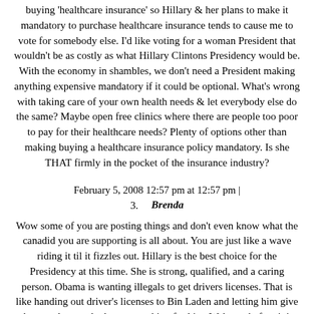buying 'healthcare insurance' so Hillary & her plans to make it mandatory to purchase healthcare insurance tends to cause me to vote for somebody else. I'd like voting for a woman President that wouldn't be as costly as what Hillary Clintons Presidency would be. With the economy in shambles, we don't need a President making anything expensive mandatory if it could be optional. What's wrong with taking care of your own health needs & let everybody else do the same? Maybe open free clinics where there are people too poor to pay for their healthcare needs? Plenty of options other than making buying a healthcare insurance policy mandatory. Is she THAT firmly in the pocket of the insurance industry?
February 5, 2008 12:57 pm at 12:57 pm |
3. Brenda
Wow some of you are posting things and don't even know what the canadid you are supporting is all about. You are just like a wave riding it til it fizzles out. Hillary is the best choice for the Presidency at this time. She is strong, qualified, and a caring person. Obama is wanting illegals to get drivers licenses. That is like handing out driver's licenses to Bin Laden and letting him give them to the people that are working for him. Wake up before it is too late. We have had